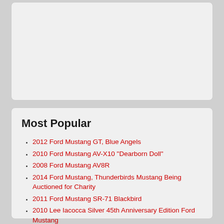[Figure (other): Empty grey card/box placeholder at top of page]
Most Popular
2012 Ford Mustang GT, Blue Angels
2010 Ford Mustang AV-X10 "Dearborn Doll"
2008 Ford Mustang AV8R
2014 Ford Mustang, Thunderbirds Mustang Being Auctioned for Charity
2011 Ford Mustang SR-71 Blackbird
2010 Lee Iacocca Silver 45th Anniversary Edition Ford Mustang